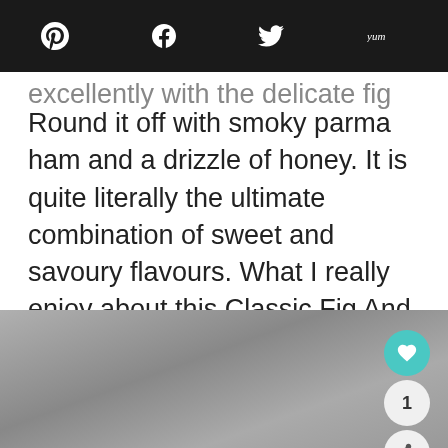Social sharing bar with Pinterest, Facebook, Twitter, Yummly icons
excellently with the delicate fig flavour. Round it off with smoky parma ham and a drizzle of honey. It is quite literally the ultimate combination of sweet and savoury flavours. What I really enjoy about this Classic Fig And Blue Cheese Bruschetta is that it is flavour-rich, looks yummy, and is simple to make.
[Figure (photo): Food photo - blurred/gray background image of bruschetta dish]